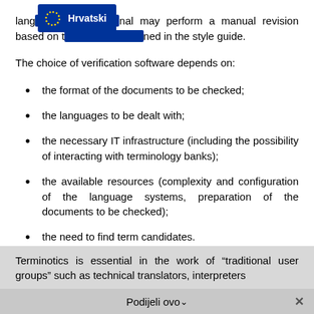[Figure (other): EU flag badge with stars and text 'Hrvatski' in Croatian language selector]
lang... nal may perform a manual revision based on the rules contained in the style guide.
The choice of verification software depends on:
the format of the documents to be checked;
the languages to be dealt with;
the necessary IT infrastructure (including the possibility of interacting with terminology banks);
the available resources (complexity and configuration of the language systems, preparation of the documents to be checked);
the need to find term candidates.
Terminotics is essential in the work of “traditional user groups” such as technical translators, interpreters
Podijeli ovo ∨ ×